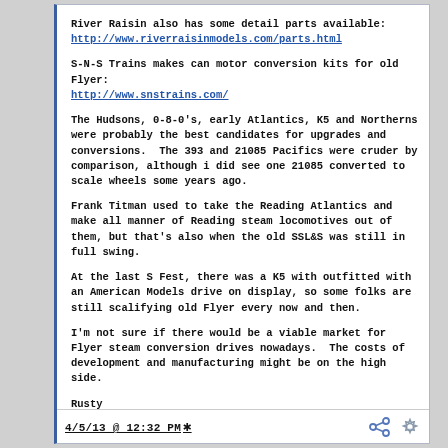River Raisin also has some detail parts available: http://www.riverraisinmodels.com/parts.html
S-N-S Trains makes can motor conversion kits for old Flyer: http://www.snstrains.com/
The Hudsons, 0-8-0's, early Atlantics, K5 and Northerns were probably the best candidates for upgrades and conversions.  The 393 and 21085 Pacifics were cruder by comparison, although i did see one 21085 converted to scale wheels some years ago.
Frank Titman used to take the Reading Atlantics and make all manner of Reading steam locomotives out of them, but that's also when the old SSL&S was still in full swing.
At the last S Fest, there was a K5 with outfitted with an American Models drive on display, so some folks are still scalifying old Flyer every now and then.
I'm not sure if there would be a viable market for Flyer steam conversion drives nowadays.  The costs of development and manufacturing might be on the high side.
Rusty
4/5/13 @ 12:32 PM *